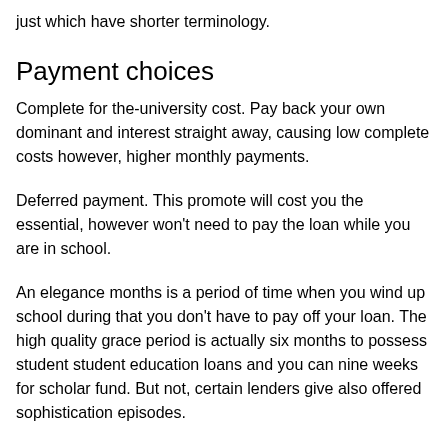just which have shorter terminology.
Payment choices
Complete for the-university cost. Pay back your own dominant and interest straight away, causing low complete costs however, higher monthly payments.
Deferred payment. This promote will cost you the essential, however won't need to pay the loan while you are in school.
An elegance months is a period of time when you wind up school during that you don't have to pay off your loan. The high quality grace period is actually six months to possess student student education loans and you can nine weeks for scholar fund. But not, certain lenders give also offered sophistication episodes.